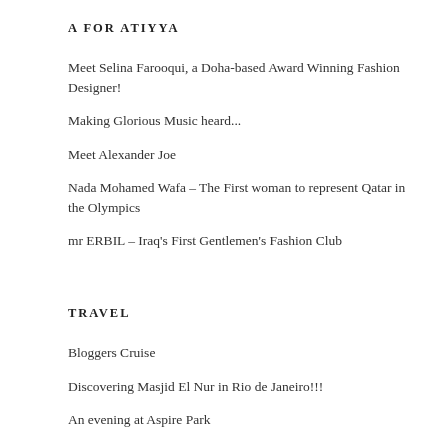A FOR ATIYYA
Meet Selina Farooqui, a Doha-based Award Winning Fashion Designer!
Making Glorious Music heard...
Meet Alexander Joe
Nada Mohamed Wafa – The First woman to represent Qatar in the Olympics
mr ERBIL – Iraq's First Gentlemen's Fashion Club
TRAVEL
Bloggers Cruise
Discovering Masjid El Nur in Rio de Janeiro!!!
An evening at Aspire Park